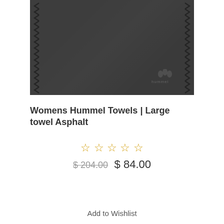[Figure (photo): A dark asphalt/charcoal colored Hummel large towel with chevron border pattern on the left and right edges and Hummel logo in the bottom right corner.]
Womens Hummel Towels | Large towel Asphalt
☆☆☆☆☆ (star rating, 0 stars)
$ 204.00  $ 84.00
Add to cart
Add to Wishlist